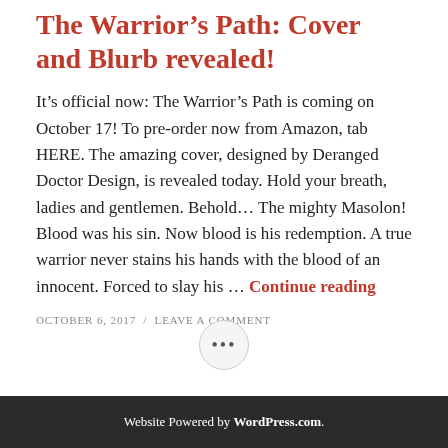The Warrior’s Path: Cover and Blurb revealed!
It’s official now: The Warrior’s Path is coming on October 17! To pre-order now from Amazon, tab HERE. The amazing cover, designed by Deranged Doctor Design, is revealed today. Hold your breath, ladies and gentlemen. Behold… The mighty Masolon! Blood was his sin. Now blood is his redemption. A true warrior never stains his hands with the blood of an innocent. Forced to slay his … Continue reading
OCTOBER 6, 2017 / LEAVE A COMMENT
[Figure (other): Three dots icon in a light circle, navigation element]
Website Powered by WordPress.com.